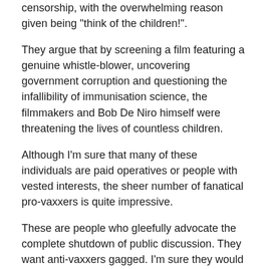censorship, with the overwhelming reason given being "think of the children!".
They argue that by screening a film featuring a genuine whistle-blower, uncovering government corruption and questioning the infallibility of immunisation science, the filmmakers and Bob De Niro himself were threatening the lives of countless children.
Although I'm sure that many of these individuals are paid operatives or people with vested interests, the sheer number of fanatical pro-vaxxers is quite impressive.
These are people who gleefully advocate the complete shutdown of public discussion. They want anti-vaxxers gagged. I'm sure they would cheer on just about any authoritarian measure to prevent free speech and force people to vaccinate.
Such attitudes have become very common in recent years. All the age-old arguments for freedom and democracy are lost on these people.
Their concept of science is one where scientific 'facts' are enforced by the state. They believe this is necessary in order to "save the children", because ordinary people cannot be trusted to make up their own minds about certain things.